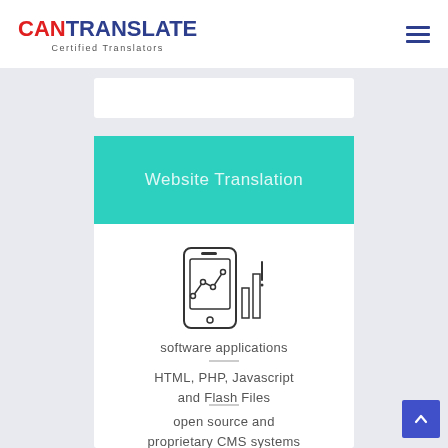CANTRANSLATE - Certified Translators
Website Translation
[Figure (illustration): Line-art icon of a smartphone with a line chart overlay and a bar chart to the right]
software applications
HTML, PHP, Javascript and Flash Files
open source and proprietary CMS systems